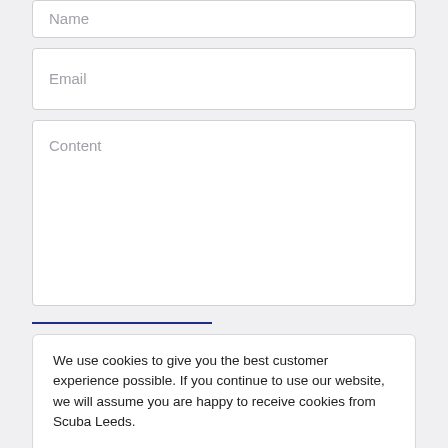Name
Email
Content
We use cookies to give you the best customer experience possible. If you continue to use our website, we will assume you are happy to receive cookies from Scuba Leeds.
I Accept, Let's Dive In!